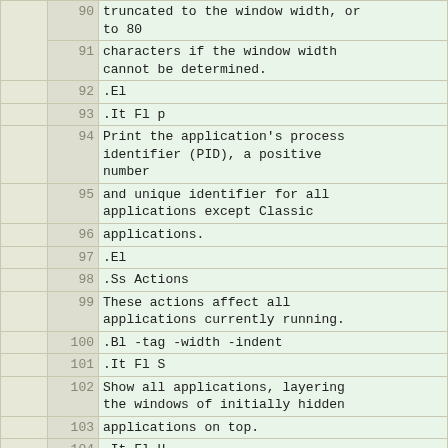|  | line | code |
| --- | --- | --- |
|  | 90 | truncated to the window width, or
to 80 |
|  | 91 | characters if the window width
cannot be determined. |
|  | 92 | .El |
|  | 93 | .It Fl p |
|  | 94 | Print the application's process
identifier (PID), a positive
number |
|  | 95 | and unique identifier for all
applications except Classic |
|  | 96 | applications. |
|  | 97 | .El |
|  | 98 | .Ss Actions |
|  | 99 | These actions affect all
applications currently running. |
|  | 100 | .Bl -tag -width -indent |
|  | 101 | .It Fl S |
|  | 102 | Show all applications, layering
the windows of initially hidden |
|  | 103 | applications on top. |
|  | 104 | .It Fl H |
|  | 105 | Hide windows of all applications
other than the matched |